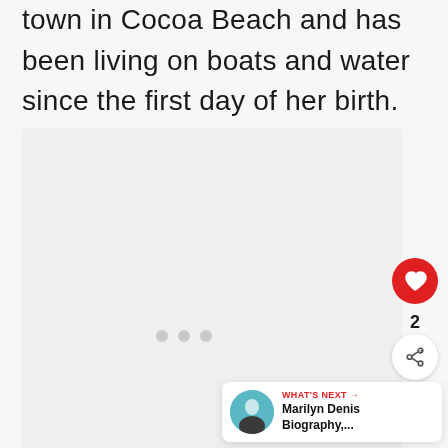town in Cocoa Beach and has been living on boats and water since the first day of her birth.
[Figure (photo): Image placeholder area with light gray background and three dots pagination indicator]
2
WHAT'S NEXT → Marilyn Denis Biography,...